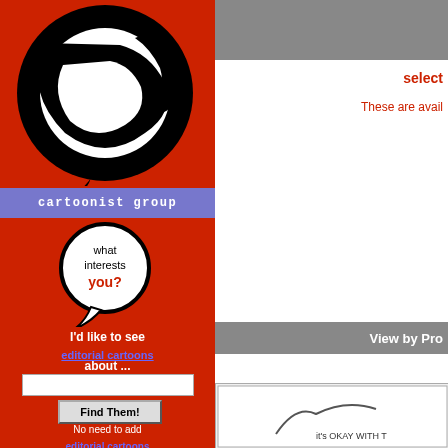[Figure (logo): Cartoonist Group logo: black abstract speech bubble/circular design on red background]
cartoonist group
[Figure (illustration): Speech bubble illustration with text 'what interests you?' in black and orange on white bubble with black outline, on red background]
I'd like to see
editorial cartoons
about ...
Find Them!
No need to add
editorial cartoons
to your keywords!
select
These are avail
View by Pro
[Figure (illustration): Partial cartoon strip visible at bottom right showing a figure with text 'it's OKAY WITH T']